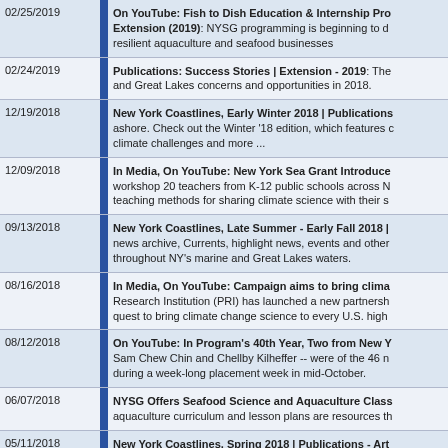| Date |  | Content |
| --- | --- | --- |
| 02/25/2019 |  | On YouTube: Fish to Dish Education & Internship Pro... Extension (2019): NYSG programming is beginning to d... resilient aquaculture and seafood businesses |
| 02/24/2019 |  | Publications: Success Stories | Extension - 2019: The... and Great Lakes concerns and opportunities in 2018. |
| 12/19/2018 |  | New York Coastlines, Early Winter 2018 | Publications... ashore. Check out the Winter '18 edition, which features c... climate challenges and more ... |
| 12/09/2018 |  | In Media, On YouTube: New York Sea Grant Introduce... workshop 20 teachers from K-12 public schools across N... teaching methods for sharing climate science with their s... |
| 09/13/2018 |  | New York Coastlines, Late Summer - Early Fall 2018 |... news archive, Currents, highlight news, events and other... throughout NY's marine and Great Lakes waters. |
| 08/16/2018 |  | In Media, On YouTube: Campaign aims to bring clima... Research Institution (PRI) has launched a new partnersh... quest to bring climate change science to every U.S. high... |
| 08/12/2018 |  | On YouTube: In Program's 40th Year, Two from New Y... Sam Chew Chin and Chellby Kilheffer -- were of the 46 n... during a week-long placement week in mid-October. |
| 06/07/2018 |  | NYSG Offers Seafood Science and Aquaculture Class... aquaculture curriculum and lesson plans are resources th... |
| 05/11/2018 |  | New York Coastlines, Spring 2018 | Publications - Art... Currents, highlight news, events and other activities from... |